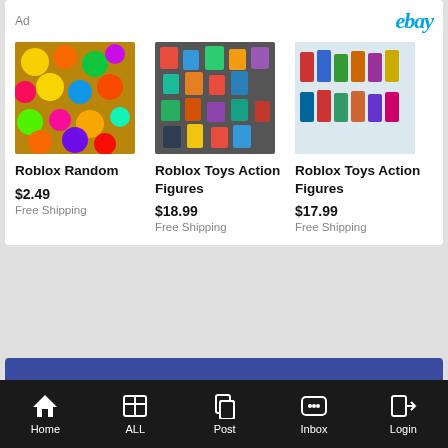Ad
[Figure (logo): eBay logo in teal italic text]
[Figure (photo): Roblox Random colorful toys pile]
Roblox Random
$2.49
Free Shipping
[Figure (photo): Roblox Toys Action Figures colorful pile]
Roblox Toys Action Figures
$18.99
Free Shipping
[Figure (photo): Roblox Toys Action Figures display]
Roblox Toys Action Figures
$17.99
Free Shipping
Shop for Action Figures
[Figure (logo): BigBadToyStore logo]
[Figure (logo): Toynk logo]
Home | ALL | Post | Inbox | Login